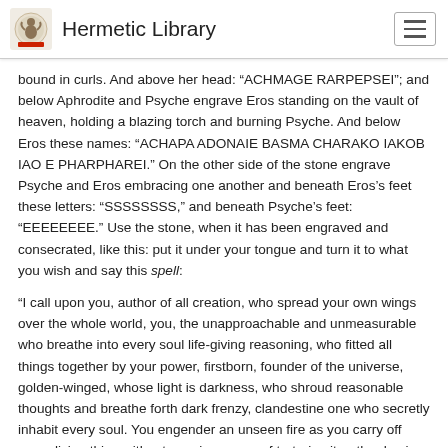Hermetic Library
bound in curls. And above her head: “ACHMAGE RARPEPSEI”; and below Aphrodite and Psyche engrave Eros standing on the vault of heaven, holding a blazing torch and burning Psyche. And below Eros these names: “ACHAPA ADONAIE BASMA CHARAKO IAKOB IAO E PHARPHAREI.” On the other side of the stone engrave Psyche and Eros embracing one another and beneath Eros’s feet these letters: “SSSSSSSS,” and beneath Psyche’s feet: “EEEEEEEE.” Use the stone, when it has been engraved and consecrated, like this: put it under your tongue and turn it to what you wish and say this spell:
“I call upon you, author of all creation, who spread your own wings over the whole world, you, the unapproachable and unmeasurable who breathe into every soul life-giving reasoning, who fitted all things together by your power, firstborn, founder of the universe, golden-winged, whose light is darkness, who shroud reasonable thoughts and breathe forth dark frenzy, clandestine one who secretly inhabit every soul. You engender an unseen fire as you carry off every living thing without growing weary of torturing it, rather having with pleasure delighted in pain from the time when the world came into being. You also come and bring pain, who are sometimes reasonable,